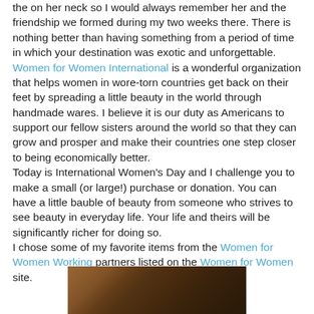the on her neck so I would always remember her and the friendship we formed during my two weeks there. There is nothing better than having something from a period of time in which your destination was exotic and unforgettable. Women for Women International is a wonderful organization that helps women in wore-torn countries get back on their feet by spreading a little beauty in the world through handmade wares. I believe it is our duty as Americans to support our fellow sisters around the world so that they can grow and prosper and make their countries one step closer to being economically better. Today is International Women's Day and I challenge you to make a small (or large!) purchase or donation. You can have a little bauble of beauty from someone who strives to see beauty in everyday life. Your life and theirs will be significantly richer for doing so. I chose some of my favorite items from the Women for Women Working partners listed on the Women for Women site.
[Figure (photo): Partial image of wooden or craft items on a wooden surface, dark warm tones]